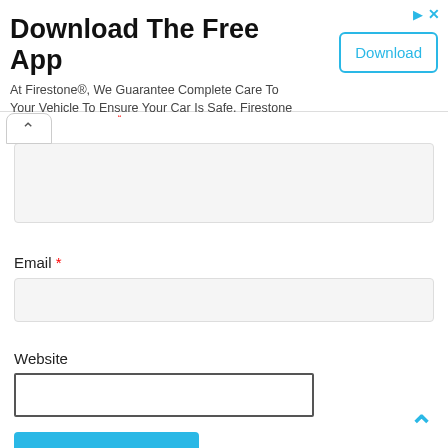[Figure (screenshot): Advertisement banner for Firestone app download with title 'Download The Free App', description text, and a Download button. Has close and arrow icons in top right.]
Email *
Website
Post Comment